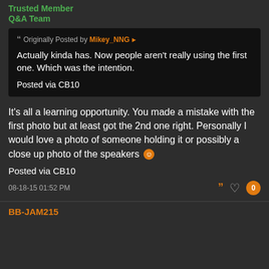Trusted Member
Q&A Team
Originally Posted by Mikey_NNG
Actually kinda has. Now people aren't really using the first one. Which was the intention.
Posted via CB10
It's all a learning opportunity. You made a mistake with the first photo but at least got the 2nd one right. Personally I would love a photo of someone holding it or possibly a close up photo of the speakers 🙂
Posted via CB10
08-18-15 01:52 PM
BB-JAM215